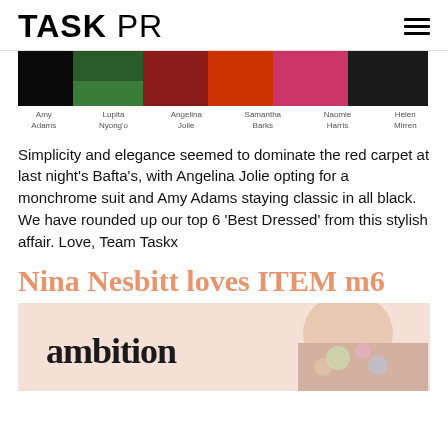TASK PR
[Figure (photo): Red carpet photo strip showing Amy Adams, Lupita Nyong'o, Angelina Jolie, Samantha Barks, Naomie Harris, Helen Mirren]
Amy Adams   Lupita Nyong'o   Angelina Jolie   Samantha Barks   Naomie Harris   Helen Mirren
Simplicity and elegance seemed to dominate the red carpet at last night's Bafta's, with Angelina Jolie opting for a monchrome suit and Amy Adams staying classic in all black. We have rounded up our top 6 'Best Dressed' from this stylish affair. Love, Team Taskx
Nina Nesbitt loves ITEM m6
[Figure (photo): Photo of Nina Nesbitt with 'ambition' text overlay, wearing floral top, pink background]